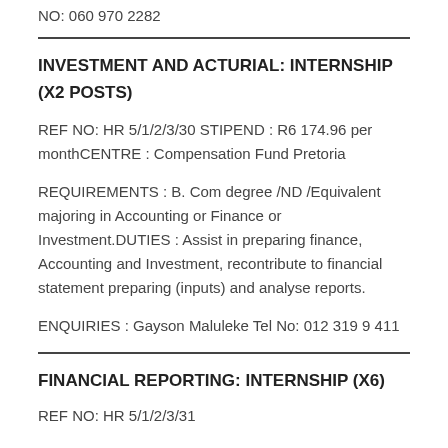NO: 060 970 2282
INVESTMENT AND ACTURIAL: INTERNSHIP (X2 POSTS)
REF NO: HR 5/1/2/3/30 STIPEND : R6 174.96 per monthCENTRE : Compensation Fund Pretoria
REQUIREMENTS : B. Com degree /ND /Equivalent majoring in Accounting or Finance or Investment.DUTIES : Assist in preparing finance, Accounting and Investment, recontribute to financial statement preparing (inputs) and analyse reports.
ENQUIRIES : Gayson Maluleke Tel No: 012 319 9 411
FINANCIAL REPORTING: INTERNSHIP (X6)
REF NO: HR 5/1/2/3/31